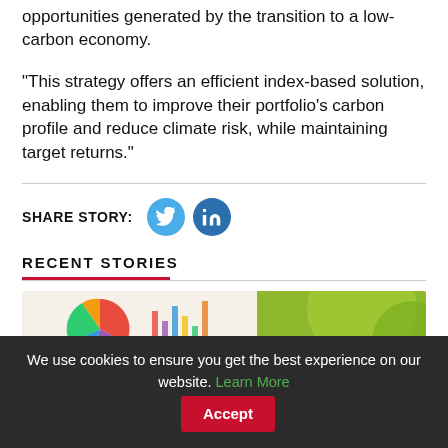opportunities generated by the transition to a low-carbon economy.
"This strategy offers an efficient index-based solution, enabling them to improve their portfolio's carbon profile and reduce climate risk, while maintaining target returns."
SHARE STORY:
[Figure (illustration): Twitter and LinkedIn social share icons (circular blue buttons)]
RECENT STORIES
[Figure (photo): Colorful pie chart documents and green spheres/plants in background]
We use cookies to ensure you get the best experience on our website. Learn More  Accept